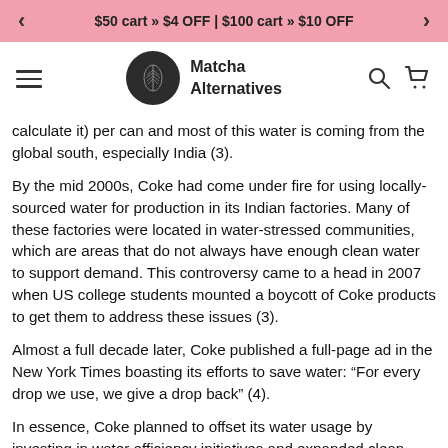$50 cart » $4 OFF | $100 cart » $10 OFF
Matcha Alternatives
calculate it) per can and most of this water is coming from the global south, especially India (3).
By the mid 2000s, Coke had come under fire for using locally-sourced water for production in its Indian factories. Many of these factories were located in water-stressed communities, which are areas that do not always have enough clean water to support demand. This controversy came to a head in 2007 when US college students mounted a boycott of Coke products to get them to address these issues (3).
Almost a full decade later, Coke published a full-page ad in the New York Times boasting its efforts to save water: “For every drop we use, we give a drop back” (4).
In essence, Coke planned to offset its water usage by investing in water efficiency initiatives and expanded clean water